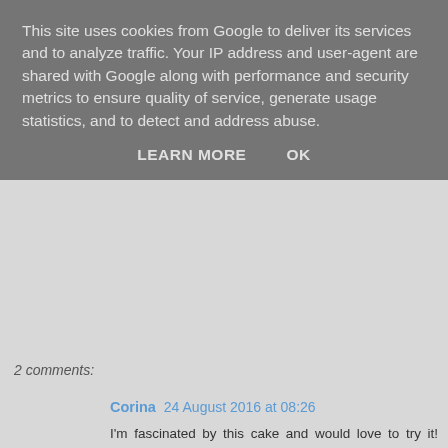This site uses cookies from Google to deliver its services and to analyze traffic. Your IP address and user-agent are shared with Google along with performance and security metrics to ensure quality of service, generate usage statistics, and to detect and address abuse.
LEARN MORE    OK
2 comments:
Corina 24 August 2016 at 08:26
I'm fascinated by this cake and would love to try it! Carrot cake is a real favourite of mine because of all the spices and I think this would be a really nice cake for the children to help with too. I go to Clandestine Cake Club meetings too and I love all the ideas I pick up there.
Reply
Joanna 26 August 2016 at 01:05
It sounds fascinating, I would never think to use tomatoes